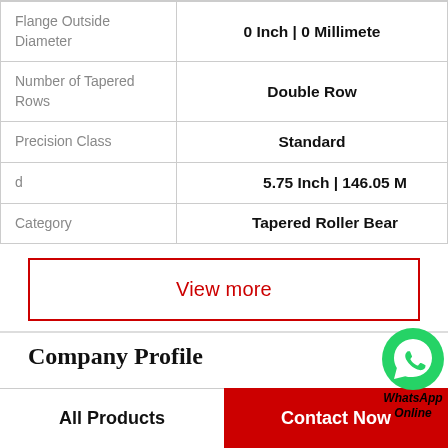| Property | Value |
| --- | --- |
| Flange Outside Diameter | 0 Inch | 0 Millimete |
| Number of Tapered Rows | Double Row |
| Precision Class | Standard |
| d | 5.75 Inch | 146.05 M |
| Category | Tapered Roller Bear |
View more
Company Profile
All Products
Contact Now